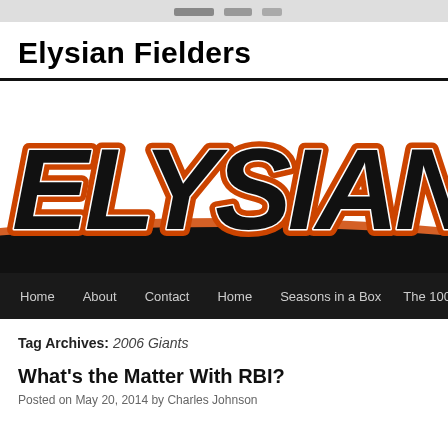[website header strip]
Elysian Fielders
[Figure (logo): Large stylized text logo reading ELYSIAN in bold black block letters with orange outline/shadow, on white background with orange arc beneath]
Home  About  Contact  Home  Seasons in a Box  The 100 G...
Tag Archives: 2006 Giants
What's the Matter With RBI?
Posted on May 20, 2014 by Charles Johnson